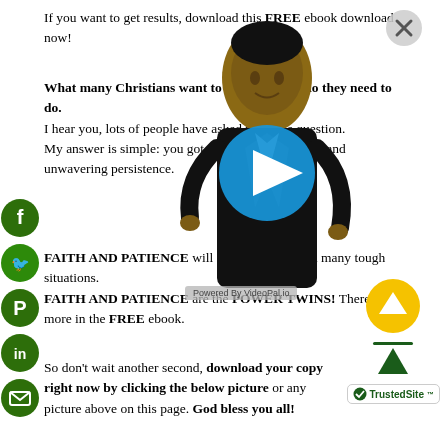If you want to get results, download this FREE ebook download now!
What many Christians want to know is what do they need to do.
I hear you, lots of people have asked the same question.
My answer is simple: you got to have bull dog faith and unwavering persistence.
FAITH AND PATIENCE will carry your through many tough situations.
FAITH AND PATIENCE are the POWER TWINS! There's more in the FREE ebook.
So don't wait another second, download your copy right now by clicking the below picture or any picture above on this page. God bless you all!
[Figure (illustration): Animated virtual presenter (woman in black suit) overlaid on page with play button and VideoPal branding]
[Figure (illustration): Social media icons (Facebook, Twitter, Pinterest, LinkedIn, Email) stacked vertically on the left]
[Figure (illustration): TrustedSite badge bottom right and yellow scroll-up button]